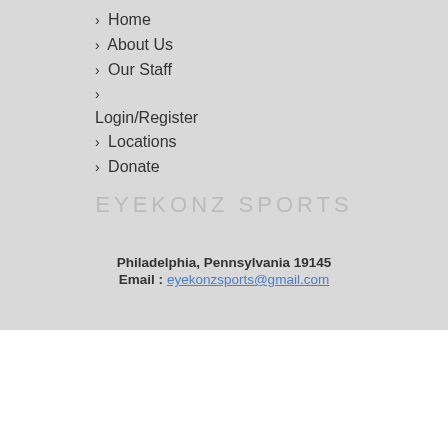› Home
› About Us
› Our Staff
› Login/Register
› Locations
› Donate
EYEKONZ SPORTS
Philadelphia, Pennsylvania 19145
Email : eyekonzsports@gmail.com
Copyright © 2022 Eyekonz Sports League  |  Privacy Policy |  Terms of Use  |  License Agreement |  Children's Privacy Policy
[Figure (logo): Sports Connect powered by Stack Sports logo with red stylized S icon]